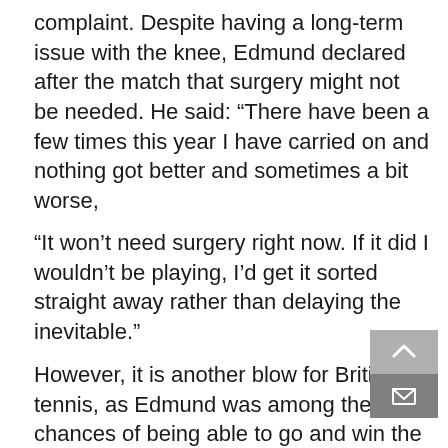complaint. Despite having a long-term issue with the knee, Edmund declared after the match that surgery might not be needed. He said: “There have been a few times this year I have carried on and nothing got better and sometimes a bit worse,
“It won’t need surgery right now. If it did I wouldn’t be playing, I’d get it sorted straight away rather than delaying the inevitable.”
However, it is another blow for British tennis, as Edmund was among the best chances of being able to go and win the Grand Slam for a UK audience. However, the Yorkshireman does expect to be back and fit again for the grass-court season. Until then, though, fans will be wondering what his long-term fitness looks like: Edmund has suffered from several injuries so far in his career, and